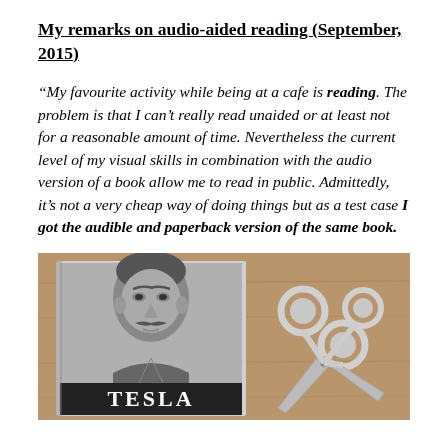My remarks on audio-aided reading (September, 2015)
“My favourite activity while being at a cafe is reading. The problem is that I can’t really read unaided or at least not for a reasonable amount of time. Nevertheless the current level of my visual skills in combination with the audio version of a book allow me to read in public. Admittedly, it’s not a very cheap way of doing things but as a test case I got the audible and paperback version of the same book.
[Figure (photo): Photo of a Tesla book (paperback) next to a pair of scissors on a wooden surface. The book cover shows a monochrome portrait of Nikola Tesla and the word TESLA at the bottom.]